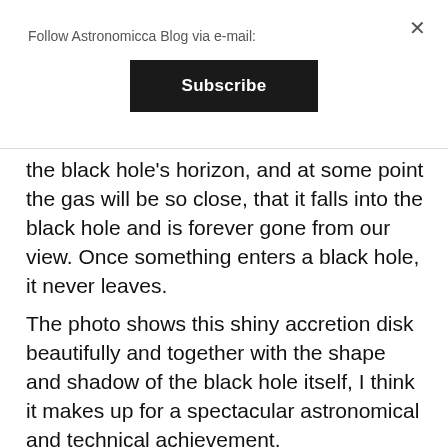Follow Astronomicca Blog via e-mail:
Subscribe
the black hole's horizon, and at some point the gas will be so close, that it falls into the black hole and is forever gone from our view. Once something enters a black hole, it never leaves.
The photo shows this shiny accretion disk beautifully and together with the shape and shadow of the black hole itself, I think it makes up for a spectacular astronomical and technical achievement.